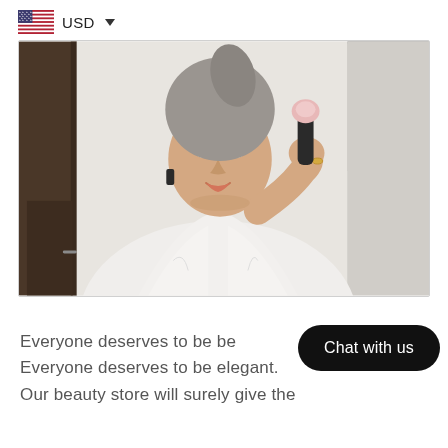USD
[Figure (photo): Woman in white bathrobe with grey towel wrapped on head, holding a beauty/facial tool near her cheek, standing in a bathroom]
Everyone deserves to be be...
Everyone deserves to be elegant.
Our beauty store will surely give the
Chat with us